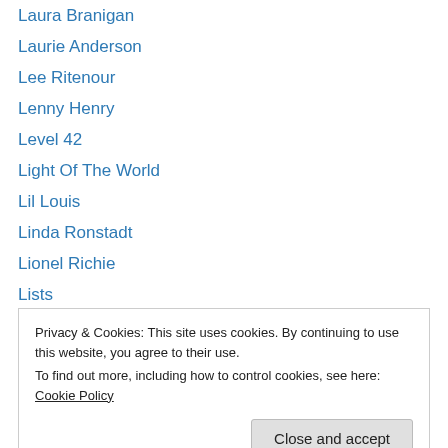Laura Branigan
Laurie Anderson
Lee Ritenour
Lenny Henry
Level 42
Light Of The World
Lil Louis
Linda Ronstadt
Lionel Richie
Lists
Little Axe
Little Feat
Live Aid
Privacy & Cookies: This site uses cookies. By continuing to use this website, you agree to their use. To find out more, including how to control cookies, see here: Cookie Policy
Madonna